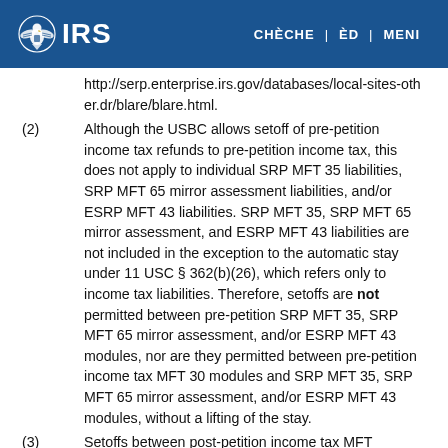IRS | CHÈCHE | ÈD | MENI
http://serp.enterprise.irs.gov/databases/local-sites-other.dr/blare/blare.html.
(2) Although the USBC allows setoff of pre-petition income tax refunds to pre-petition income tax, this does not apply to individual SRP MFT 35 liabilities, SRP MFT 65 mirror assessment liabilities, and/or ESRP MFT 43 liabilities. SRP MFT 35, SRP MFT 65 mirror assessment, and ESRP MFT 43 liabilities are not included in the exception to the automatic stay under 11 USC § 362(b)(26), which refers only to income tax liabilities. Therefore, setoffs are not permitted between pre-petition SRP MFT 35, SRP MFT 65 mirror assessment, and/or ESRP MFT 43 modules, nor are they permitted between pre-petition income tax MFT 30 modules and SRP MFT 35, SRP MFT 65 mirror assessment, and/or ESRP MFT 43 modules, without a lifting of the stay.
(3) Setoffs between post-petition income tax MFT